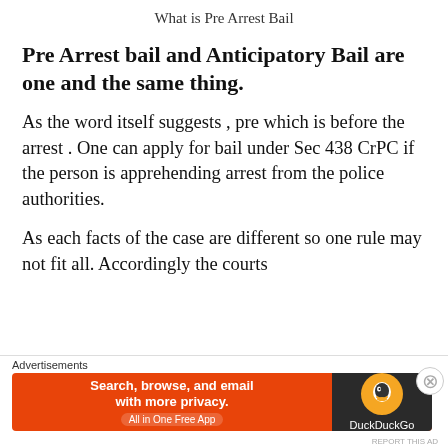What is Pre Arrest Bail
Pre Arrest bail and Anticipatory Bail are one and the same thing.
As the word itself suggests , pre which is before the arrest . One can apply for bail under Sec 438 CrPC if the person is apprehending arrest from the police authorities.
As each facts of the case are different so one rule may not fit all. Accordingly the courts
[Figure (other): DuckDuckGo advertisement banner with orange background reading 'Search, browse, and email with more privacy. All in One Free App' and DuckDuckGo logo on dark right panel]